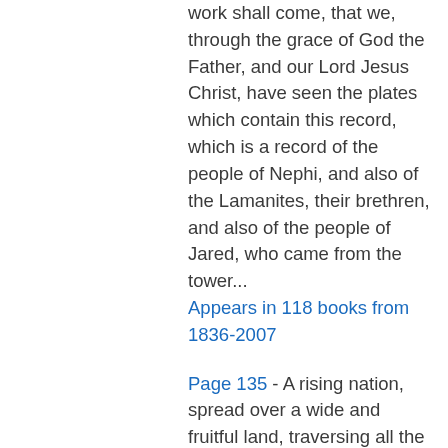work shall come, that we, through the grace of God the Father, and our Lord Jesus Christ, have seen the plates which contain this record, which is a record of the people of Nephi, and also of the Lamanites, their brethren, and also of the people of Jared, who came from the tower...
Appears in 118 books from 1836-2007
Page 135 - A rising nation, spread over a wide and fruitful land, traversing all the seas with the rich productions of their industry, engaged in commerce with nations who feel power